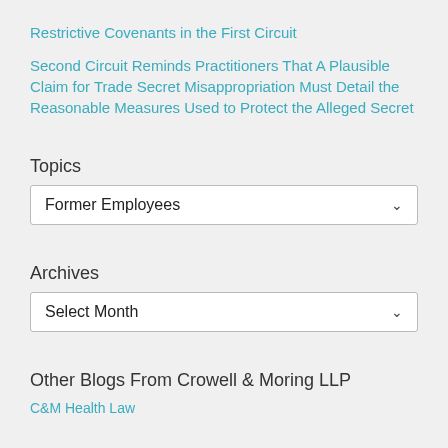Restrictive Covenants in the First Circuit
Second Circuit Reminds Practitioners That A Plausible Claim for Trade Secret Misappropriation Must Detail the Reasonable Measures Used to Protect the Alleged Secret
Topics
Former Employees
Archives
Select Month
Other Blogs From Crowell & Moring LLP
C&M Health Law